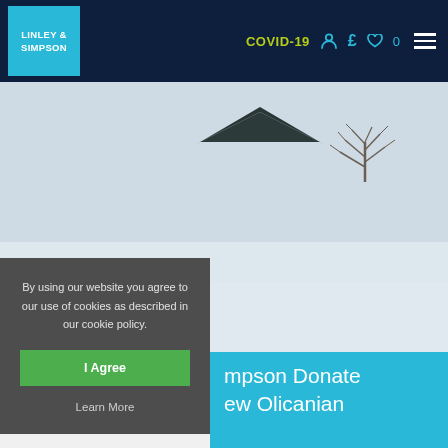LINLEY & SIMPSON | COVID-19 | navigation bar
[Figure (photo): Snowy winter landscape with a dark triangular rooftop and bare trees visible against a grey-white sky]
By using our website you agree to our use of cookies as described in our cookie policy.
I Agree
Learn More
mpson Donate ew Olicanian